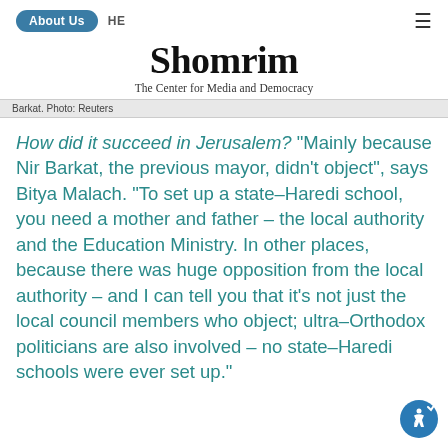About Us  HE
Shomrim
The Center for Media and Democracy
Barkat. Photo: Reuters
How did it succeed in Jerusalem? "Mainly because Nir Barkat, the previous mayor, didn't object", says Bitya Malach. "To set up a state-Haredi school, you need a mother and father – the local authority and the Education Ministry. In other places, because there was huge opposition from the local authority – and I can tell you that it's not just the local council members who object; ultra-Orthodox politicians are also involved – no state-Haredi schools were ever set up."